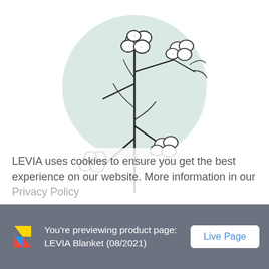[Figure (illustration): Hand-drawn illustration of a cotton plant branch with cotton bolls on a light teal circular background, partially cropped at top]
Only high-quality materials such as ecological & skin-friendly cotton are used for the LEVIA weighted blanket.
[Figure (illustration): Partially visible blurred icons of the next section]
LEVIA uses cookies to ensure you get the best experience on our website. More information in our Privacy Policy
You're previewing product page: LEVIA Blanket (08/2021)  Live Page